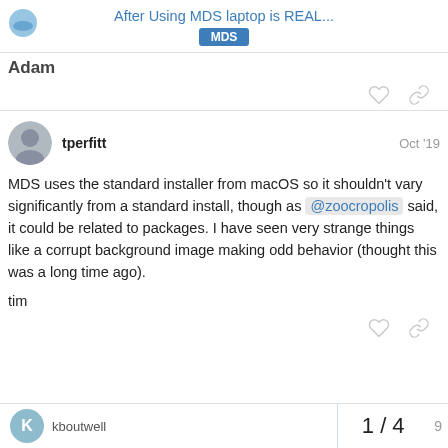After Using MDS laptop is REAL... MDS
Adam
tperfitt  Oct '19
MDS uses the standard installer from macOS so it shouldn't vary significantly from a standard install, though as @zoocropolis said, it could be related to packages. I have seen very strange things like a corrupt background image making odd behavior (thought this was a long time ago).
tim
kboutwell  1 / 4